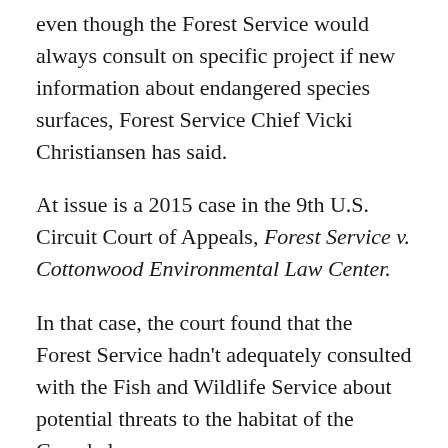even though the Forest Service would always consult on specific project if new information about endangered species surfaces, Forest Service Chief Vicki Christiansen has said.
At issue is a 2015 case in the 9th U.S. Circuit Court of Appeals, Forest Service v. Cottonwood Environmental Law Center.
In that case, the court found that the Forest Service hadn't adequately consulted with the Fish and Wildlife Service about potential threats to the habitat of the Canada lynx.
Since then, Daines has been trying to overturn the case through legislation. He has allies on the Democratic side and has pointed to the Obama administration's objections to the scope of the decision.